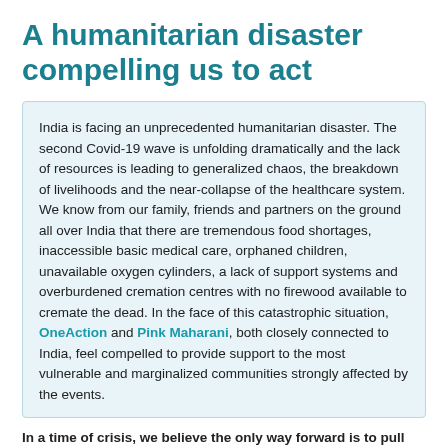A humanitarian disaster compelling us to act
India is facing an unprecedented humanitarian disaster. The second Covid-19 wave is unfolding dramatically and the lack of resources is leading to generalized chaos, the breakdown of livelihoods and the near-collapse of the healthcare system. We know from our family, friends and partners on the ground all over India that there are tremendous food shortages, inaccessible basic medical care, orphaned children, unavailable oxygen cylinders, a lack of support systems and overburdened cremation centres with no firewood available to cremate the dead. In the face of this catastrophic situation, OneAction and Pink Maharani, both closely connected to India, feel compelled to provide support to the most vulnerable and marginalized communities strongly affected by the events.
In a time of crisis, we believe the only way forward is to pull and hold each other up, and look ahead